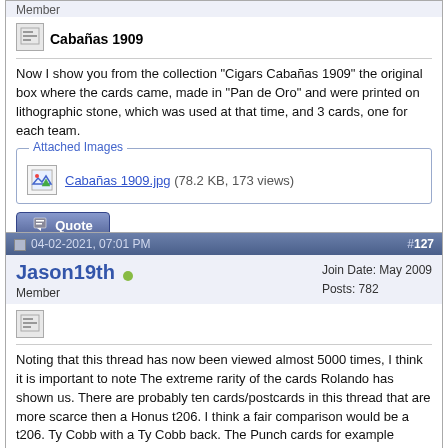Member
Cabañas 1909
Now I show you from the collection "Cigars Cabañas 1909" the original box where the cards came, made in "Pan de Oro" and were printed on lithographic stone, which was used at that time, and 3 cards, one for each team.
[Figure (screenshot): Attached Images box with link: Cabañas 1909.jpg (78.2 KB, 173 views)]
[Figure (screenshot): Reply with Quote button]
04-02-2021, 07:01 PM  #127
Jason19th
Member
Join Date: May 2009  Posts: 782
Noting that this thread has now been viewed almost 5000 times, I think it is important to note The extreme rarity of the cards Rolando has shown us. There are probably ten cards/postcards in this thread that are more scarce then a Honus t206. I think a fair comparison would be a t206. Ty Cobb with a Ty Cobb back. The Punch cards for example probably have under 10 examples each. I think there is a perception that once Cuba opens up there will be a flood of